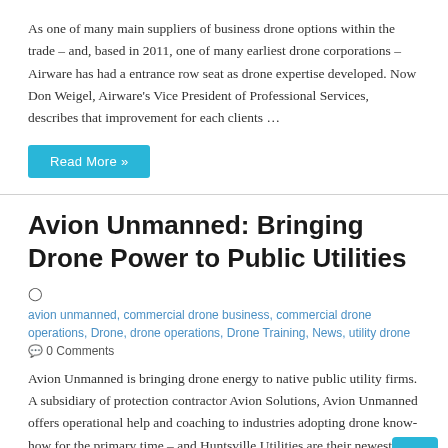As one of many main suppliers of business drone options within the trade – and, based in 2011, one of many earliest drone corporations – Airware has had a entrance row seat as drone expertise developed.  Now Don Weigel, Airware's Vice President of Professional Services, describes that improvement for each clients …
Read More »
Avion Unmanned: Bringing Drone Power to Public Utilities
avion unmanned, commercial drone business, commercial drone operations, Drone, drone operations, Drone Training, News, utility drone
0 Comments
Avion Unmanned is bringing drone energy to native public utility firms.  A subsidiary of protection contractor Avion Solutions, Avion Unmanned offers operational help and coaching to industries adopting drone know-how for the primary time – and Huntsville Utilities are their newest consumer. While drones are extensively utilized in Asia for utility …